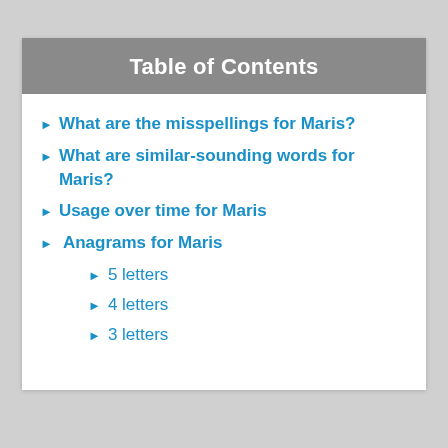Table of Contents
What are the misspellings for Maris?
What are similar-sounding words for Maris?
Usage over time for Maris
Anagrams for Maris
5 letters
4 letters
3 letters